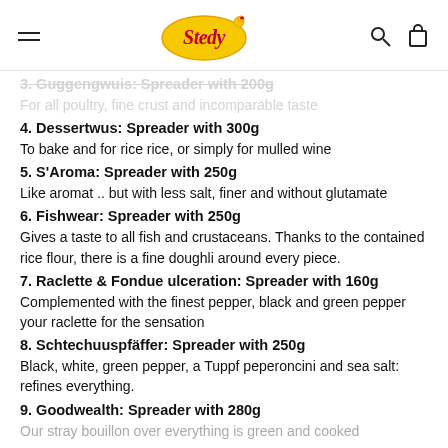Stedy logo with hamburger menu, search and cart icons
3. Guggengwuis: Spreader with 200g
For all poultry, fine crust and incomparable taste
4. Dessertwus: Spreader with 300g
To bake and for rice rice, or simply for mulled wine
5. S'Aroma: Spreader with 250g
Like aromat .. but with less salt, finer and without glutamate
6. Fishwear: Spreader with 250g
Gives a taste to all fish and crustaceans. Thanks to the contained rice flour, there is a fine doughli around every piece.
7. Raclette & Fondue ulceration: Spreader with 160g
Complemented with the finest pepper, black and green pepper your raclette for the sensation
8. Schtechuuspfäffer: Spreader with 250g
Black, white, green pepper, a Tuppf peperoncini and sea salt: refines everything.
9. Goodwealth: Spreader with 280g
Our stray bouillon over everything is green and cooked